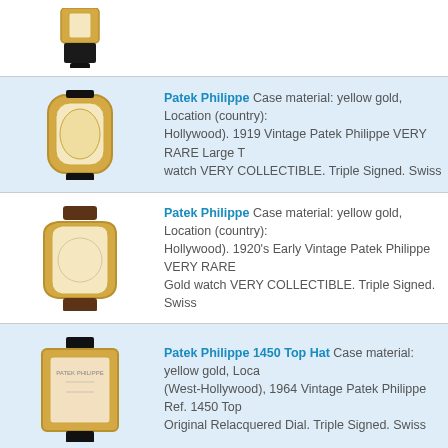[Figure (photo): Partial view of a watch with black strap, top portion cropped]
[Figure (photo): Vintage Patek Philippe yellow gold watch with cream dial and black leather strap]
Patek Philippe Case material: yellow gold, Location (country): Hollywood). 1919 Vintage Patek Philippe VERY RARE Large T watch VERY COLLECTIBLE. Triple Signed. Swiss
[Figure (photo): Vintage Patek Philippe yellow gold watch with cream dial and brown leather strap]
Patek Philippe Case material: yellow gold, Location (country): Hollywood). 1920's Early Vintage Patek Philippe VERY RARE Gold watch VERY COLLECTIBLE. Triple Signed. Swiss
[Figure (photo): Patek Philippe 1450 Top Hat yellow gold rectangular watch with black leather strap]
Patek Philippe 1450 Top Hat Case material: yellow gold, Location (West-Hollywood), 1964 Vintage Patek Philippe Ref. 1450 Top Original Relacquered Dial. Triple Signed. Swiss
[Figure (photo): Patek Philippe 2295 Eiffel Tower yellow gold rectangular watch with black leather strap]
Patek Philippe 2295 Eiffel Tower Case material: yellow gold, (USA), (West-Hollywood), 1950 Vintage Patek Philippe Ref. 22 18k Yellow Gold Collectible watch. Triple Signed. Swiss